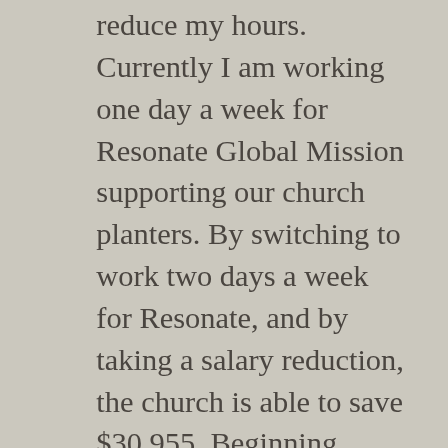reduce my hours. Currently I am working one day a week for Resonate Global Mission supporting our church planters. By switching to work two days a week for Resonate, and by taking a salary reduction, the church is able to save $30,955. Beginning February 1, I will be working 1/3 of my time for Resonate (about 2 days or 16 hrs/wk) and 2/3 of my time for New Life (about 4 days or 32 hrs/wk). In order to support this work, I will be applying to Resonate for a grant and also fundraising to go towards my salary.
I wanted to make sure everyone is aware of these changes. Things will be different for us as a church, and there will be adjustments that need to be made. Pray for me as I transition to a